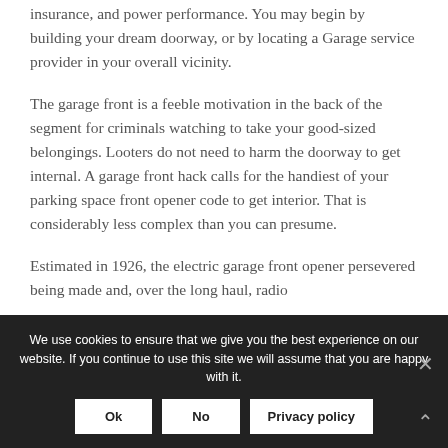insurance, and power performance. You may begin by building your dream doorway, or by locating a Garage service provider in your overall vicinity.
The garage front is a feeble motivation in the back of the segment for criminals watching to take your good-sized belongings. Looters do not need to harm the doorway to get internal. A garage front hack calls for the handiest of your parking space front opener code to get interior. That is considerably less complex than you can presume.
Estimated in 1926, the electric garage front opener persevered being made and, over the long haul, radio
We use cookies to ensure that we give you the best experience on our website. If you continue to use this site we will assume that you are happy with it.
Ok
No
Privacy policy